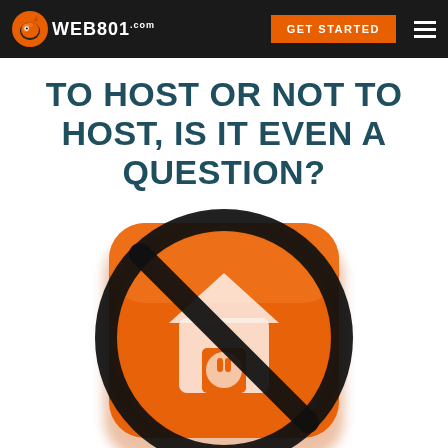WEB801.com | GET STARTED
TO HOST OR NOT TO HOST, IS IT EVEN A QUESTION?
[Figure (illustration): An orange rounded-square icon with a white house/plug symbol, overlaid with a black prohibition circle-and-slash symbol, suggesting anti-hosting or no-hosting theme.]